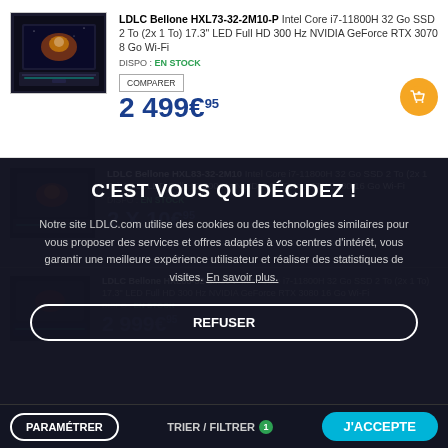[Figure (photo): Gaming laptop product photo - LDLC Bellone dark themed]
LDLC Bellone HXL73-32-2M10-P Intel Core i7-11800H 32 Go SSD 2 To (2x 1 To) 17.3" LED Full HD 300 Hz NVIDIA GeForce RTX 3070 8 Go Wi-Fi
DISPO : EN STOCK
2 499€95
COMPARER
[Figure (photo): Gaming laptop product photo - LDLC Bellone dark themed second product]
LDLC Bellone HXL83-32-2M10 Intel Core i7-11800H 32 Go SSD 2 To (2x 1 To) 17.3" LED Full HD 300 Hz NVIDIA GeForce RTX 3080 16 Go Wi-Fi
DISPO : EN STOCK
2 X 10€95
[Figure (photo): Gaming laptop product photo - LDLC Bellone third product dimmed]
LDLC Bellone HXL83-32-2M10-P Intel Core i7-11800H 32 Go SSD 2 To (2x 1 To) 17.3" LED Full HD 300 Hz NVIDIA GeForce RTX 3080 16 Go Wi-Fi
DISPO : EN STOCK
2 999€95
C'EST VOUS QUI DÉCIDEZ !
Notre site LDLC.com utilise des cookies ou des technologies similaires pour vous proposer des services et offres adaptés à vos centres d'intérêt, vous garantir une meilleure expérience utilisateur et réaliser des statistiques de visites. En savoir plus.
REFUSER
PARAMÉTRER
J'ACCEPTE
TRIER / FILTRER 1